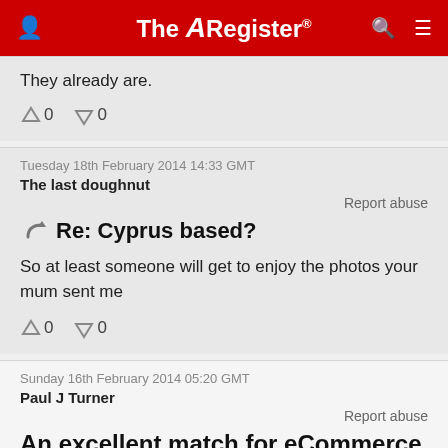The Register
They already are.
↑0  ↓0
Tuesday 18th February 2014 14:33 GMT
The last doughnut
Report abuse
Re: Cyprus based?
So at least someone will get to enjoy the photos your mum sent me
↑0  ↓0
Sunday 16th February 2014 05:20 GMT
Paul J Turner
Report abuse
An excellent match for eCommerce